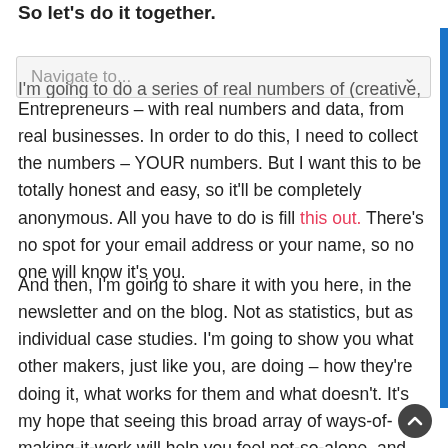So let's do it together.
I'm going to do a series of real numbers of (creative) Entrepreneurs – with real numbers and data, from real businesses. In order to do this, I need to collect the numbers – YOUR numbers. But I want this to be totally honest and easy, so it'll be completely anonymous. All you have to do is fill this out. There's no spot for your email address or your name, so no one will know it's you.
And then, I'm going to share it with you here, in the newsletter and on the blog. Not as statistics, but as individual case studies. I'm going to show you what other makers, just like you, are doing – how they're doing it, what works for them and what doesn't. It's my hope that seeing this broad array of ways-of-making-it-work will help you feel not-so-alone, and, help you stop comparing